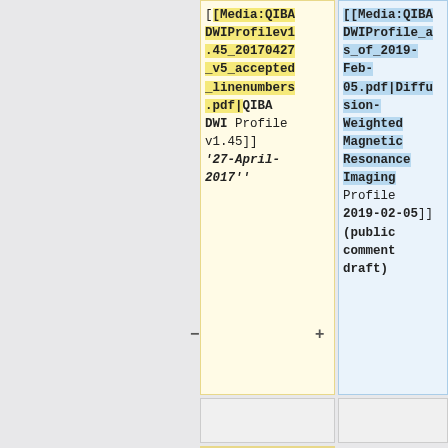[[Media:QIBADWIProfilev1.45_20170427_v5_accepted_linenumbers.pdf|QIBA DWI Profile v1.45]] ''27-April-2017''
[[Media:QIBADWIProfile_as_of_2019-Feb-05.pdf|Diffusion-Weighted Magnetic Resonance Imaging Profile 2019-02-05]] (public comment draft)
*[[DWI Literature Review]]
*[[DWI Literature Review]]